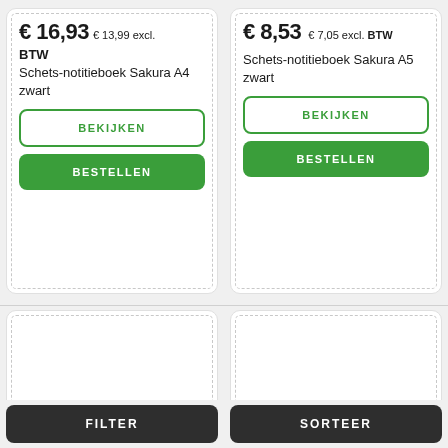€ 16,93 € 13,99 excl. BTW
Schets-notitieboek Sakura A4 zwart
BEKIJKEN
BESTELLEN
€ 8,53 € 7,05 excl. BTW
Schets-notitieboek Sakura A5 zwart
BEKIJKEN
BESTELLEN
FILTER
SORTEER